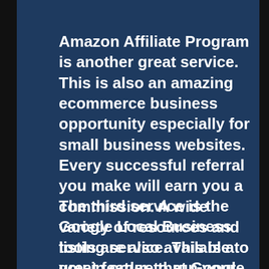Amazon Affiliate Program is another great service. This is also an amazing ecommerce business opportunity especially for small business websites. Every successful referral you make will earn you a commission. A wide variety of resources and tools are also available to you in order to run your business smoothly.
The third service is the Google Local Business listing service. This is a great feature that Google created specifically for small businesses. They have the opportunity to